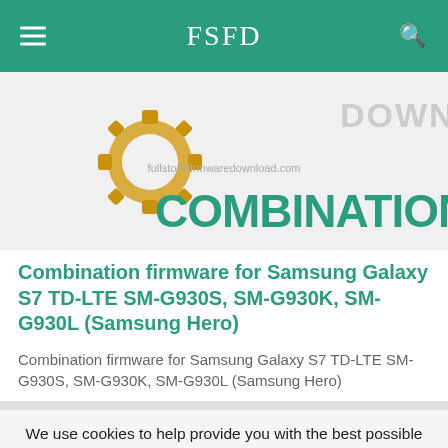FSFD
[Figure (screenshot): Banner image showing a gear icon and the word COMBINATION in teal/green text, with watermark fullstockfirmwaredownload.com]
Combination firmware for Samsung Galaxy S7 TD-LTE SM-G930S, SM-G930K, SM-G930L (Samsung Hero)
Combination firmware for Samsung Galaxy S7 TD-LTE SM-G930S, SM-G930K, SM-G930L (Samsung Hero)
We use cookies to help provide you with the best possible online experience. By using this site, you agree that we may store and access cookies on your device.